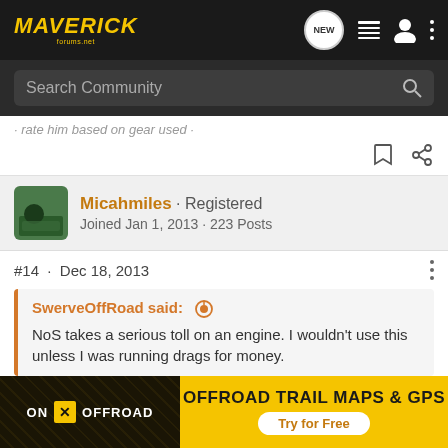MAVERICK forums.net — Search Community
· rate him based on gear used ·
Micahmiles · Registered
Joined Jan 1, 2013 · 223 Posts
#14 · Dec 18, 2013
SwerveOffRoad said: ⊕
NoS takes a serious toll on an engine. I wouldn't use this unless I was running drags for money.
No it doesn't. Anyone that knows performance engines knows that Nitro[us] ... [to] setup than a t[urbo ...] ed